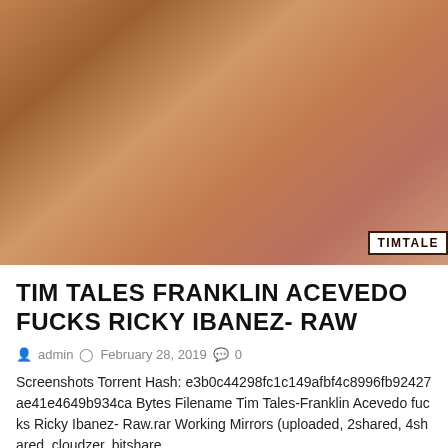[Figure (photo): Close-up photo with TIMTALE watermark in bottom right corner]
TIM TALES FRANKLIN ACEVEDO FUCKS RICKY IBANEZ- RAW
admin  February 28, 2019  0
Screenshots Torrent Hash: e3b0c44298fc1c149afbf4c8996fb92427ae41e4649b934ca Bytes Filename Tim Tales-Franklin Acevedo fucks Ricky Ibanez- Raw.rar Working Mirrors (uploaded, 2shared, 4shared, cloudzer, bitshare ...
Read More
[Figure (photo): Partial photo at bottom with Uncategorized tag overlay]